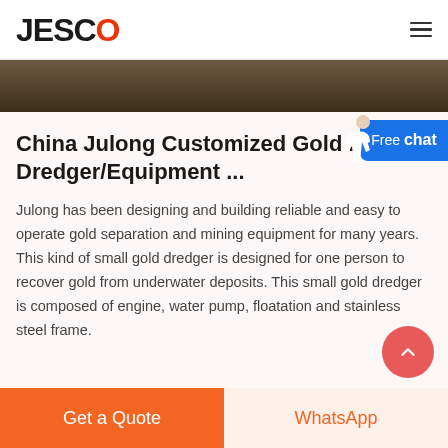JESCO
[Figure (photo): Dark brown/earthy image strip showing mining site or equipment, cropped]
China Julong Customized Gold Mining Dredger/Equipment ...
Julong has been designing and building reliable and easy to operate gold separation and mining equipment for many years. This kind of small gold dredger is designed for one person to recover gold from underwater deposits. This small gold dredger is composed of engine, water pump, floatation and stainless steel frame.